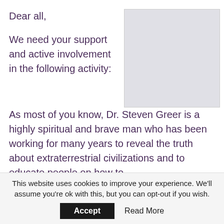Dear all,
We need your support and active involvement in the following activity:
[Figure (photo): A placeholder image rectangle with light gray background]
As most of you know, Dr. Steven Greer is a highly spiritual and brave man who has been working for many years to reveal the truth about extraterrestrial civilizations and to educate people on how to
This website uses cookies to improve your experience. We'll assume you're ok with this, but you can opt-out if you wish.
Accept
Read More